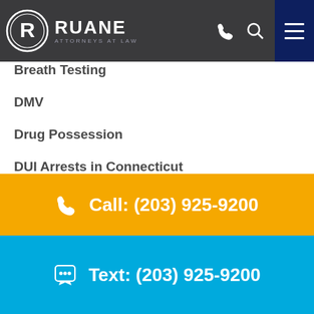[Figure (logo): Ruane Attorneys at Law logo with circular R emblem on dark gray header bar with phone icon, search icon, and hamburger menu button]
Breath Testing
DMV
Drug Possession
DUI Arrests in Connecticut
DUI Defense
DUI Impact
DUI...
Call: (203) 925-9200
Text: (203) 925-9200